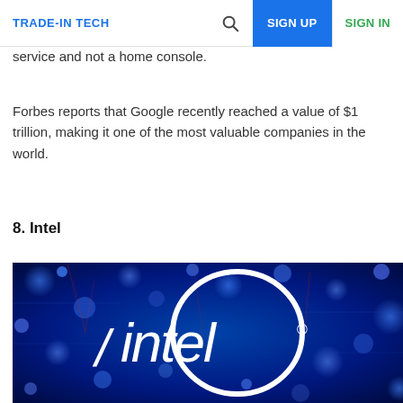TRADE-IN TECH  SIGN UP  SIGN IN
service and not a home console.
Forbes reports that Google recently reached a value of $1 trillion, making it one of the most valuable companies in the world.
8. Intel
[Figure (photo): Intel logo on a blue digital/tech background with glowing bokeh lights and circuit-like patterns. The white Intel wordmark with registered trademark symbol is prominently displayed.]